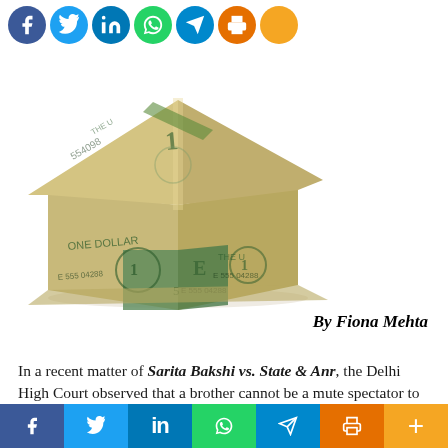[Figure (other): Row of social media share icons (Facebook, Twitter, LinkedIn, WhatsApp, Telegram, Print, More) displayed as colored circles at the top of the page]
[Figure (photo): A house-shaped sculpture made from folded US dollar bills (one dollar bills), showing a house with roof and walls constructed from paper money, set against a white background]
By Fiona Mehta
In a recent matter of Sarita Bakshi vs. State & Anr, the Delhi High Court observed that a brother cannot be a mute spectator to his divorced sister's miseries.
[Figure (other): Row of social media share icons (Facebook, Twitter, LinkedIn, WhatsApp, Telegram, Print, More) displayed as colored rectangles at the bottom of the page]